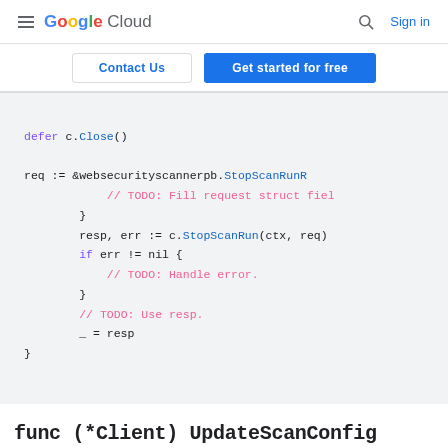Google Cloud  Sign in
Contact Us  Get started for free
[Figure (screenshot): Code block showing Go code snippet with defer c.Close(), req := &websecurityscannerpb.StopScanRunR, // TODO: Fill request struct fiel, }, resp, err := c.StopScanRun(ctx, req), if err != nil {, // TODO: Handle error., }, // TODO: Use resp., _ = resp, }]
func (*Client) UpdateScanConfig